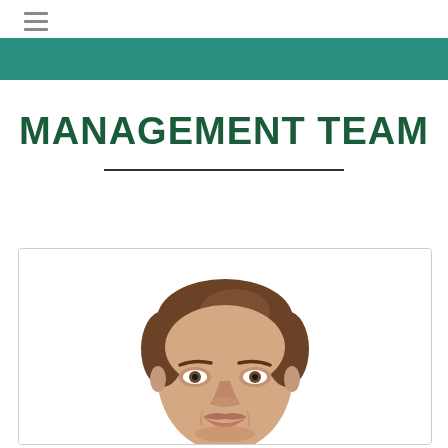MANAGEMENT TEAM
[Figure (photo): Headshot portrait of a man with brown short hair, looking slightly upward, on a white background, partially cropped at bottom of frame, inside a bordered card.]